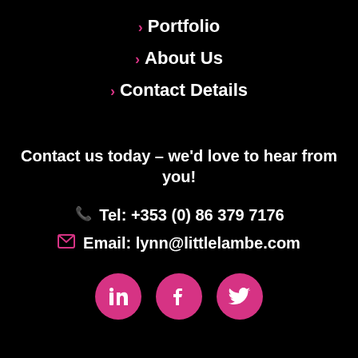> Portfolio
> About Us
> Contact Details
Contact us today – we'd love to hear from you!
Tel: +353 (0) 86 379 7176
Email: lynn@littlelambe.com
[Figure (infographic): Three pink circular social media icons: LinkedIn, Facebook, Twitter]